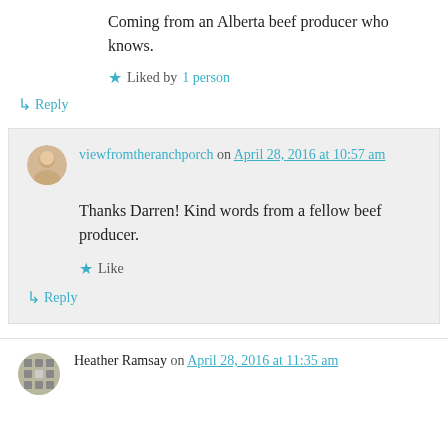Coming from an Alberta beef producer who knows.
Liked by 1 person
↳ Reply
viewfromtheranchporch on April 28, 2016 at 10:57 am
Thanks Darren! Kind words from a fellow beef producer.
Like
↳ Reply
Heather Ramsay on April 28, 2016 at 11:35 am